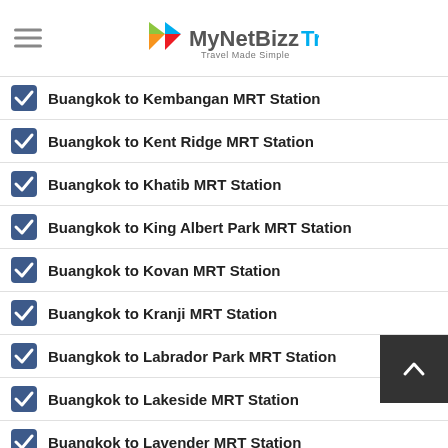MyNetBizz Travel — Travel Made Simple
Buangkok to Kembangan MRT Station
Buangkok to Kent Ridge MRT Station
Buangkok to Khatib MRT Station
Buangkok to King Albert Park MRT Station
Buangkok to Kovan MRT Station
Buangkok to Kranji MRT Station
Buangkok to Labrador Park MRT Station
Buangkok to Lakeside MRT Station
Buangkok to Lavender MRT Station
Buangkok to Lentor MRT Station
Buangkok to Little India MRT Station
Buangkok to Lorong Chuan MRT Station